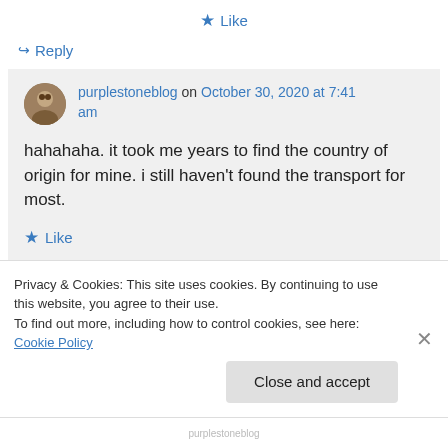★ Like
↪ Reply
purplestoneblog on October 30, 2020 at 7:41 am
hahahaha. it took me years to find the country of origin for mine. i still haven't found the transport for most.
★ Like
Privacy & Cookies: This site uses cookies. By continuing to use this website, you agree to their use.
To find out more, including how to control cookies, see here: Cookie Policy
Close and accept